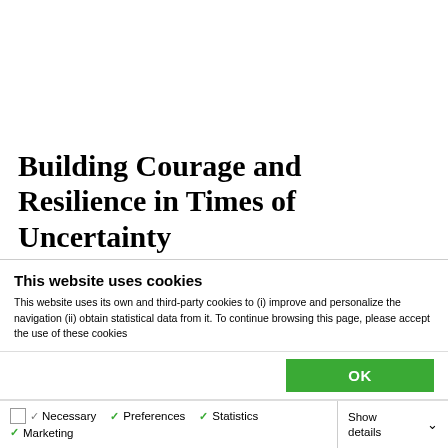Building Courage and Resilience in Times of Uncertainty
If there is no guarantee as to what the new normal is going to be and the only guarantee is that if we
This website uses cookies
This website uses its own and third-party cookies to (i) improve and personalize the navigation (ii) obtain statistical data from it. To continue browsing this page, please accept the use of these cookies
OK
Necessary  Preferences  Statistics  Marketing  Show details